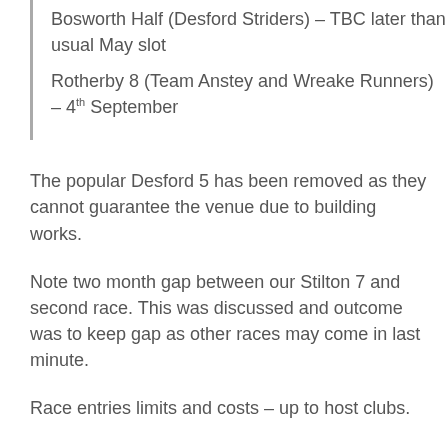Bosworth Half (Desford Striders) – TBC later than usual May slot
Rotherby 8 (Team Anstey and Wreake Runners) – 4th September
The popular Desford 5 has been removed as they cannot guarantee the venue due to building works.
Note two month gap between our Stilton 7 and second race. This was discussed and outcome was to keep gap as other races may come in last minute.
Race entries limits and costs – up to host clubs.
Entires are limited to LRRL affiliated runners only but can open to anyone after one week ( for larger entry